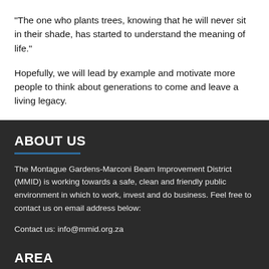“The one who plants trees, knowing that he will never sit in their shade, has started to understand the meaning of life.”
Hopefully, we will lead by example and motivate more people to think about generations to come and leave a living legacy.
ABOUT US
The Montague Gardens-Marconi Beam Improvement District (MMID) is working towards a safe, clean and friendly public environment in which to work, invest and do business. Feel free to contact us on email address below:
Contact us: info@mmid.org.za
AREA